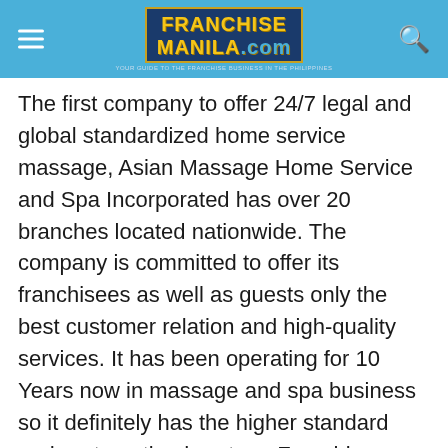FranchiseManila.com
The first company to offer 24/7 legal and global standardized home service massage, Asian Massage Home Service and Spa Incorporated has over 20 branches located nationwide. The company is committed to offer its franchisees as well as guests only the best customer relation and high-quality services. It has been operating for 10 Years now in massage and spa business so it definitely has the higher standard and systematized system. Franchisees will not only profit from massage, spa, skin and salon services, it also offers branded products that franchisees can market and gain profit at the same time.